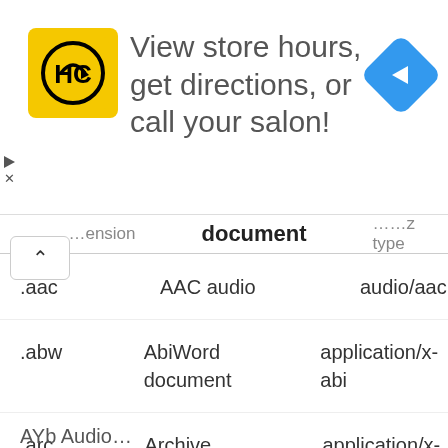[Figure (other): Advertisement banner: HC salon logo (yellow square with HC initials), text 'View store hours, get directions, or call your salon!', navigation arrow icon. Left side has a play/forward arrow and X button.]
| Extension | document | MIME Type |
| --- | --- | --- |
| .aac | AAC audio | audio/aac |
| .abw | AbiWord document | application/x-abi... |
| .arc | Archive document (multiple files embedded) | application/x-fre... |